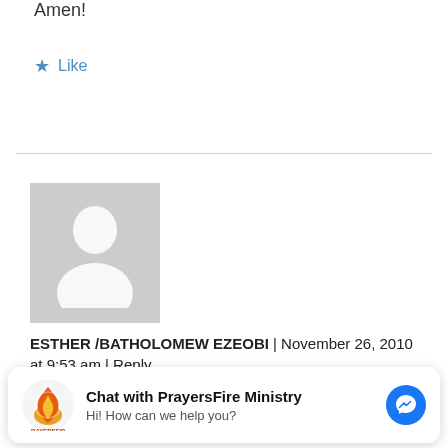Amen!
★ Like
[Figure (illustration): Default user avatar placeholder - grey square with white silhouette of a person]
ESTHER /BATHOLOMEW EZEOBI | November 26, 2010 at 9:53 am | Reply
please pray for me and my husband against any power causing sickness and childlessness in our marriage.
[Figure (logo): PrayersFire Ministry chat widget with logo, title 'Chat with PrayersFire Ministry', subtitle 'Hi! How can we help you?', and Messenger icon]